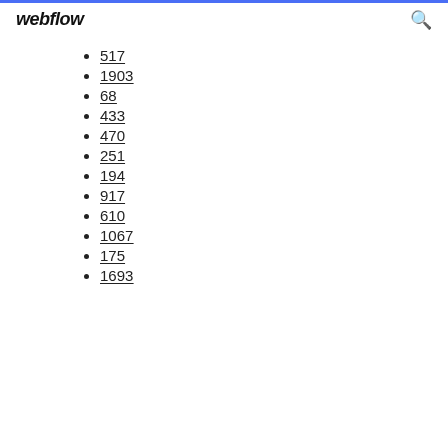webflow
517
1903
68
433
470
251
194
917
610
1067
175
1693